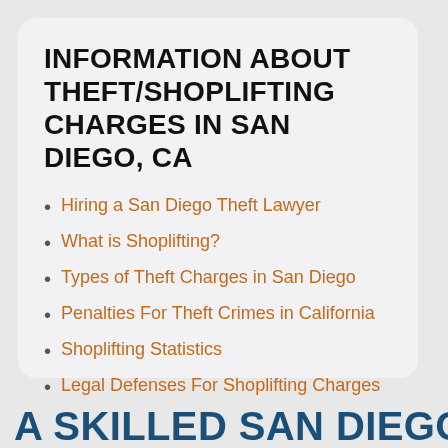INFORMATION ABOUT THEFT/SHOPLIFTING CHARGES IN SAN DIEGO, CA
Hiring a San Diego Theft Lawyer
What is Shoplifting?
Types of Theft Charges in San Diego
Penalties For Theft Crimes in California
Shoplifting Statistics
Legal Defenses For Shoplifting Charges
A SKILLED SAN DIEGO